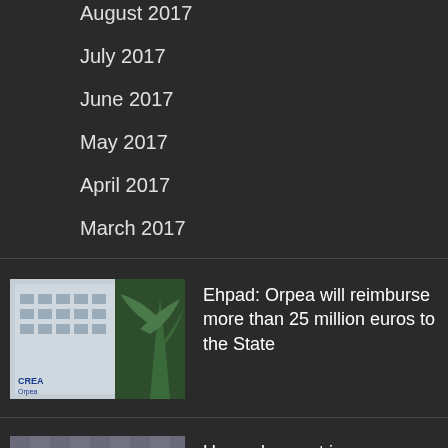August 2017
July 2017
June 2017
May 2017
April 2017
March 2017
[Figure (photo): Building facade with palm tree and Orpea/CREA logo]
Ehpad: Orpea will reimburse more than 25 million euros to the State
[Figure (photo): Person in a suit standing at official entrance]
Unemployment insurance: the executive could have to reform quickly